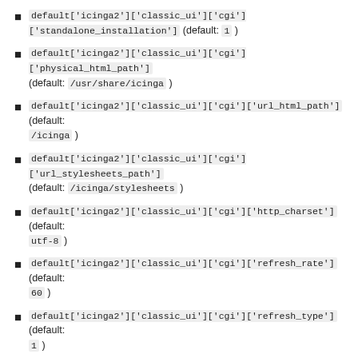default['icinga2']['classic_ui']['cgi']['standalone_installation'] (default: 1 )
default['icinga2']['classic_ui']['cgi']['physical_html_path'] (default: /usr/share/icinga )
default['icinga2']['classic_ui']['cgi']['url_html_path'] (default: /icinga )
default['icinga2']['classic_ui']['cgi']['url_stylesheets_path'] (default: /icinga/stylesheets )
default['icinga2']['classic_ui']['cgi']['http_charset'] (default: utf-8 )
default['icinga2']['classic_ui']['cgi']['refresh_rate'] (default: 60 )
default['icinga2']['classic_ui']['cgi']['refresh_type'] (default: 1 )
default['icinga2']['classic_ui']['cgi']['escape_html_tags']